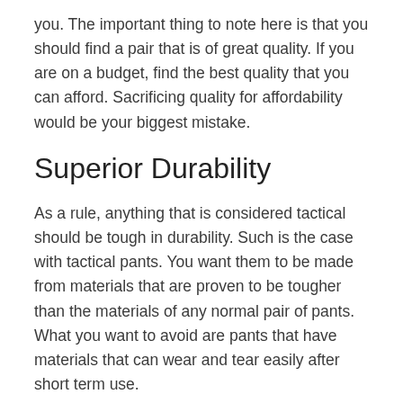you. The important thing to note here is that you should find a pair that is of great quality. If you are on a budget, find the best quality that you can afford. Sacrificing quality for affordability would be your biggest mistake.
Superior Durability
As a rule, anything that is considered tactical should be tough in durability. Such is the case with tactical pants. You want them to be made from materials that are proven to be tougher than the materials of any normal pair of pants. What you want to avoid are pants that have materials that can wear and tear easily after short term use.